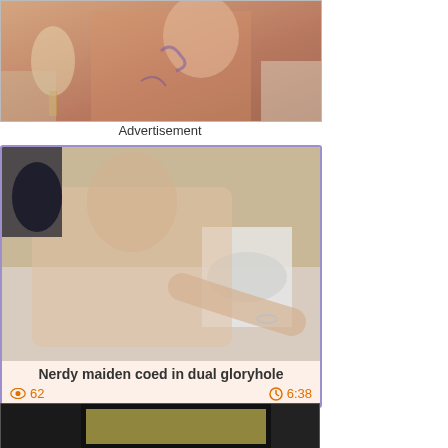[Figure (photo): Advertisement image showing a person with tattoos in a bedroom setting]
Advertisement
[Figure (photo): Video thumbnail showing a person, labeled as Nerdy maiden coed in dual gloryhole]
Nerdy maiden coed in dual gloryhole
62
6:38
[Figure (photo): Bottom video thumbnail, partially visible, dark background with some lighter regions]